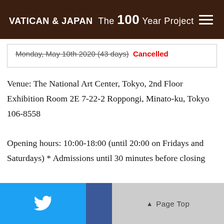VATICAN & JAPAN The 100 Year Project
Monday, May 10th 2020 (43 days) Cancelled
Venue: The National Art Center, Tokyo, 2nd Floor Exhibition Room 2E 7-22-2 Roppongi, Minato-ku, Tokyo 106-8558
Opening hours: 10:00-18:00 (until 20:00 on Fridays and Saturdays) * Admissions until 30 minutes before closing
Closed: Every Tuesday *open on November 3 (Tues, holiday) and closed on Wednesday, November 4
Organizers: The National Art Center Tokyo, Vatican ...okawa Culture Promotion Foundation, Asahi Shimbun, TBS Glowdia